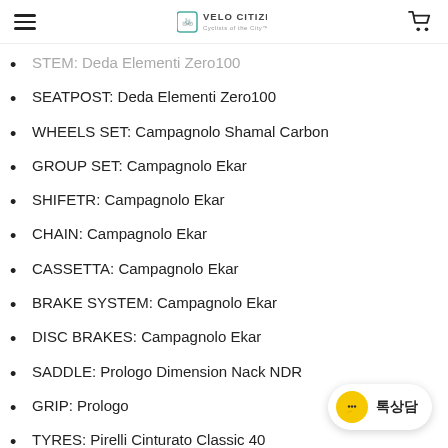VELO CITIZEN
STEM: Deda Elementi Zero100
SEATPOST: Deda Elementi Zero100
WHEELS SET: Campagnolo Shamal Carbon
GROUP SET: Campagnolo Ekar
SHIFETR: Campagnolo Ekar
CHAIN: Campagnolo Ekar
CASSETTA: Campagnolo Ekar
BRAKE SYSTEM: Campagnolo Ekar
DISC BRAKES: Campagnolo Ekar
SADDLE: Prologo Dimension Nack NDR
GRIP: Prologo
TYRES: Pirelli Cinturato Classic 40